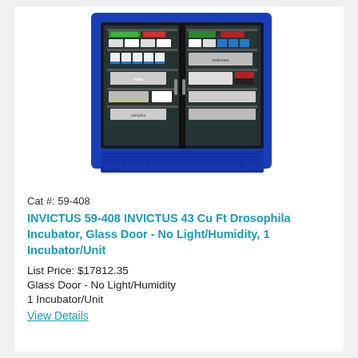[Figure (photo): Blue INVICTUS Drosophila Incubator with two glass doors showing shelves of laboratory vials and containers inside. The unit has a bright blue cabinet exterior with a ventilation grille at the bottom.]
Cat #: 59-408
INVICTUS 59-408 INVICTUS 43 Cu Ft Drosophila Incubator, Glass Door - No Light/Humidity, 1 Incubator/Unit
List Price: $17812.35
Glass Door - No Light/Humidity
1 Incubator/Unit
View Details